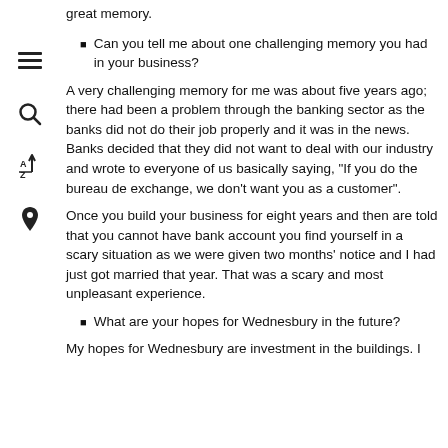great memory.
Can you tell me about one challenging memory you had in your business?
A very challenging memory for me was about five years ago; there had been a problem through the banking sector as the banks did not do their job properly and it was in the news. Banks decided that they did not want to deal with our industry and wrote to everyone of us basically saying, "If you do the bureau de exchange, we don't want you as a customer".
Once you build your business for eight years and then are told that you cannot have bank account you find yourself in a scary situation as we were given two months' notice and I had just got married that year. That was a scary and most unpleasant experience.
What are your hopes for Wednesbury in the future?
My hopes for Wednesbury are investment in the buildings. I